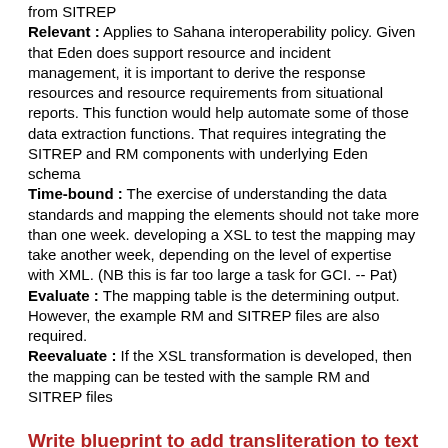from SITREP
Relevant : Applies to Sahana interoperability policy. Given that Eden does support resource and incident management, it is important to derive the response resources and resource requirements from situational reports. This function would help automate some of those data extraction functions. That requires integrating the SITREP and RM components with underlying Eden schema
Time-bound : The exercise of understanding the data standards and mapping the elements should not take more than one week. developing a XSL to test the mapping may take another week, depending on the level of expertise with XML. (NB this is far too large a task for GCI. -- Pat)
Evaluate : The mapping table is the determining output. However, the example RM and SITREP files are also required.
Reevaluate : If the XSL transformation is developed, then the mapping can be tested with the sample RM and SITREP files
Write blueprint to add transliteration to text entry controls